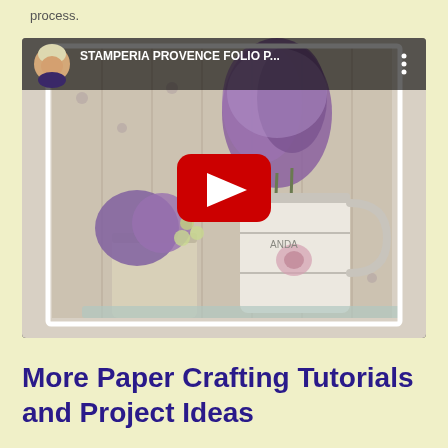process.
[Figure (screenshot): YouTube video thumbnail showing a Stamperia Provence Folio project with lavender flowers and vintage watering cans, with a red YouTube play button overlay and channel avatar in top-left corner. Video title reads 'STAMPERIA PROVENCE FOLIO P...']
More Paper Crafting Tutorials and Project Ideas